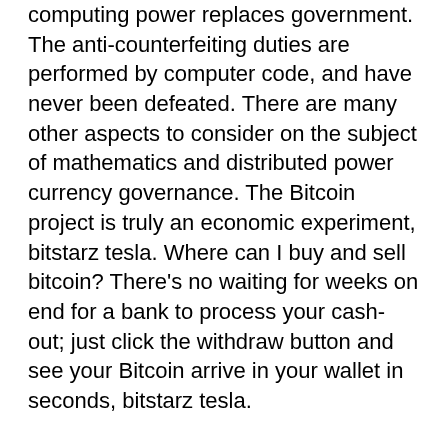computing power replaces government. The anti-counterfeiting duties are performed by computer code, and have never been defeated. There are many other aspects to consider on the subject of mathematics and distributed power currency governance. The Bitcoin project is truly an economic experiment, bitstarz tesla. Where can I buy and sell bitcoin? There's no waiting for weeks on end for a bank to process your cash-out; just click the withdraw button and see your Bitcoin arrive in your wallet in seconds, bitstarz tesla.
Countries : CoinPoker doesn't provide a list of restricted countries. Theoretically, you may play from anywhere in the world. However, they make sure to put the responsibility on players in their terms and conditions: " We recommend You review Your country's laws before using the CoinPoker Services, bitstarz tesla.